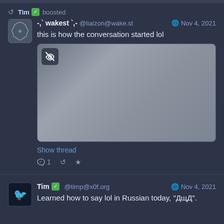Tim boosted
-,` wakest `,- @liaizon@wake.st  Nov 4, 2021
this is how the conversation started lol
[Figure (screenshot): Blurred/sensitive media image with an eye-slash icon in the top-left corner]
Show thread
1  (reply, boost, favorite icons)
Tim @timp@x0f.org  Nov 4, 2021
Learned how to say lol in Russian today, "ДщД".